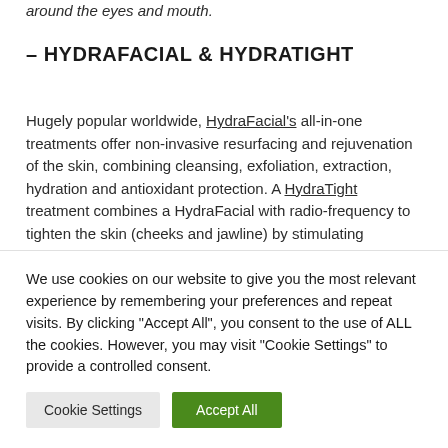around the eyes and mouth.
– HYDRAFACIAL & HYDRATIGHT
Hugely popular worldwide, HydraFacial's all-in-one treatments offer non-invasive resurfacing and rejuvenation of the skin, combining cleansing, exfoliation, extraction, hydration and antioxidant protection. A HydraTight treatment combines a HydraFacial with radio-frequency to tighten the skin (cheeks and jawline) by stimulating collagen and elastin production. Both relaxing treatments require no down-
We use cookies on our website to give you the most relevant experience by remembering your preferences and repeat visits. By clicking "Accept All", you consent to the use of ALL the cookies. However, you may visit "Cookie Settings" to provide a controlled consent.